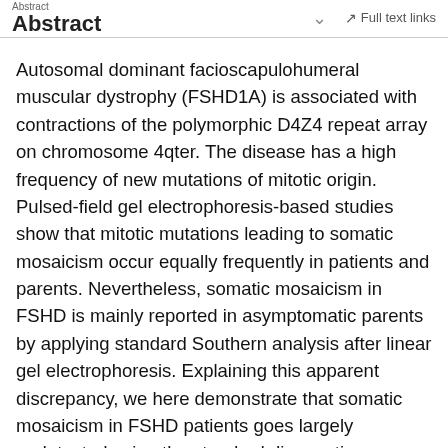Abstract | Full text links
Autosomal dominant facioscapulohumeral muscular dystrophy (FSHD1A) is associated with contractions of the polymorphic D4Z4 repeat array on chromosome 4qter. The disease has a high frequency of new mutations of mitotic origin. Pulsed-field gel electrophoresis-based studies show that mitotic mutations leading to somatic mosaicism occur equally frequently in patients and parents. Nevertheless, somatic mosaicism in FSHD is mainly reported in asymptomatic parents by applying standard Southern analysis after linear gel electrophoresis. Explaining this apparent discrepancy, we here demonstrate that somatic mosaicism in FSHD patients goes largely undetected using the standard diagnostic technique, indicating that linear electrophoresis is unsuitable to identify mosaic patients. As a consequence, the phenotype of mosaic patient's offspring will be underestimated, whereas the